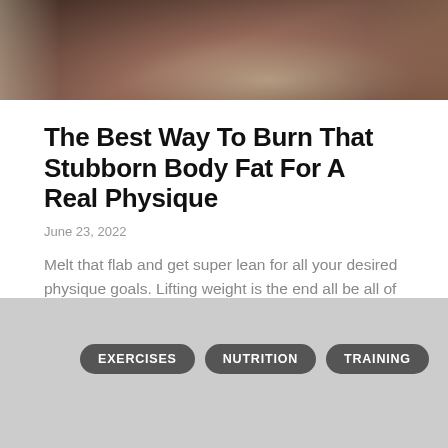[Figure (photo): Dark photo of a person's torso/midsection, close-up fitness/bodybuilding image against dark background]
The Best Way To Burn That Stubborn Body Fat For A Real Physique
June 23, 2022
Melt that flab and get super lean for all your desired physique goals. Lifting weight is the end all be all of bodybuilding training and working to burn body fat. Or...
EXERCISES   NUTRITION   TRAINING